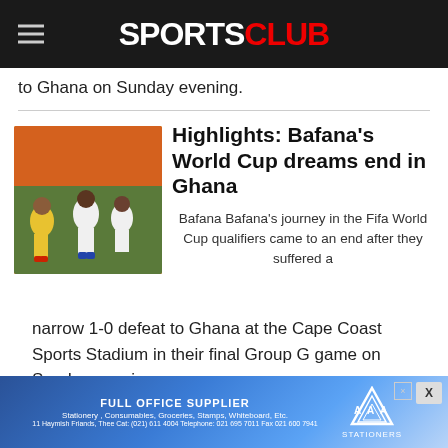SPORTSCLUB
to Ghana on Sunday evening.
Highlights: Bafana's World Cup dreams end in Ghana
Bafana Bafana's journey in the Fifa World Cup qualifiers came to an end after they suffered a narrow 1-0 defeat to Ghana at the Cape Coast Sports Stadium in their final Group G game on Sunday evening.
[Figure (photo): Football players in action, Bafana Bafana vs Ghana match]
[Figure (infographic): Advertisement banner: FULL OFFICE SUPPLIER - Stationery, Consumables, Groceries, Stamps, Whiteboard, Etc. AAA Stationers]